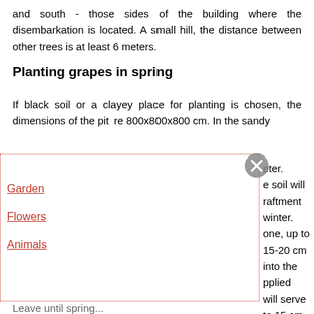and south - those sides of the building where the disembarkation is located. A small hill, the distance between other trees is at least 6 meters.
Planting grapes in spring
If black soil or a clayey place for planting is chosen, the dimensions of the pit are 800x800x800 cm. In the sandy [soil the pit is larger by 0.5 m in di]ameter. Preparation is best done in the fall, [so that by spring th]e soil will be compacted. The depth [is important for the en]graftment and protection of the roots [from freezing in col]d winter. For drainage, fill the bottom of [the pit with brok]en stone, up to 15 cm. Chernozem is added [with humus about] 15-20 cm thick. An elongated pipe, 10 [cm, is lowered] into the ground. Fertilizers (potash and [phosphate) are a]pplied over black soil, leveled over the [top with humus that] will serve as a substitute for minerals. [The mound is about] to 15 cm. More fertilizers and another [layer. Before plant]ing, pour in up to 60 liters of water.
Garden
Flowers
Animals
Leave until spring...